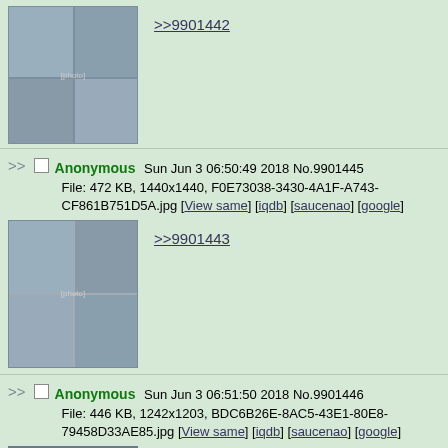[Figure (photo): Collage of photos of a child in costume at an event, partially visible at top of page]
>>9901442
>> Anonymous Sun Jun 3 06:50:49 2018 No.9901445
File: 472 KB, 1440x1440, F0E73038-3430-4A1F-A743-CF861B751D5A.jpg [View same] [iqdb] [saucenao] [google]
[Figure (photo): Collage of photos of a woman in floral dress outdoors]
>>9901443
>> Anonymous Sun Jun 3 06:51:50 2018 No.9901446
File: 446 KB, 1242x1203, BDC6B26E-8AC5-43E1-80E8-79458D33AE85.jpg [View same] [iqdb] [saucenao] [google]
[Figure (photo): Photo of woman in dark dress with hat, partially visible at bottom]
>>9901445